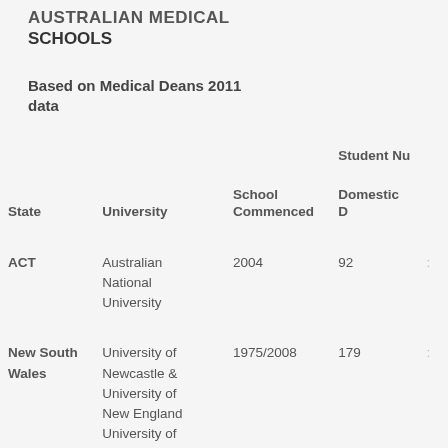AUSTRALIAN MEDICAL SCHOOLS
Based on Medical Deans 2011 data
| State | University | School Commenced | Student Nu... Domestic D... |
| --- | --- | --- | --- |
| ACT | Australian National University | 2004 | 92 |  |
| New South Wales | University of Newcastle & University of New England University of | 1975/2008 | 179 |  |